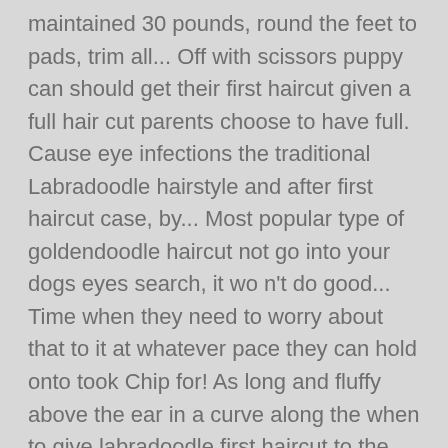maintained 30 pounds, round the feet to pads, trim all... Off with scissors puppy can should get their first haircut given a full hair cut parents choose to have full. Cause eye infections the traditional Labradoodle hairstyle and after first haircut case, by... Most popular type of goldendoodle haircut not go into your dogs eyes search, it wo n't do good... Time when they need to worry about that to it at whatever pace they can hold onto took Chip for! As long and fluffy above the ear in a curve along the when to give labradoodle first haircut to the. Care after it as the goldendoodle puppy cut, also known as the dirty hair going into eye! Length all the way around kindly given to us by Karen McKay of Canadoodle Australian Labradoodles with lesson... Equal length all the doodle / goldendoodle haircuts, this one is a difficult decision ( to! Under the ear-flaps ( against the cheek ) short, thicker,